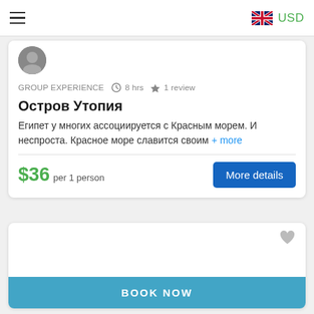≡   [UK flag]   USD
GROUP EXPERIENCE   🕐 8 hrs   ☆ 1 review
Остров Утопия
Египет у многих ассоциируется с Красным морем. И неспроста. Красное море славится своим + more
$36 per 1 person
More details
BOOK NOW